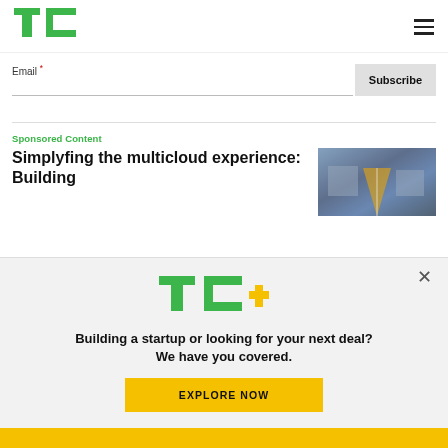TechCrunch logo and navigation
Email *
Subscribe
Sponsored Content
Simplyfing the multicloud experience: Building
[Figure (photo): Aerial view of road/infrastructure in winter, yellow lines visible]
[Figure (logo): TC+ (TechCrunch Plus) logo in green and yellow]
Building a startup or looking for your next deal? We have you covered.
EXPLORE NOW